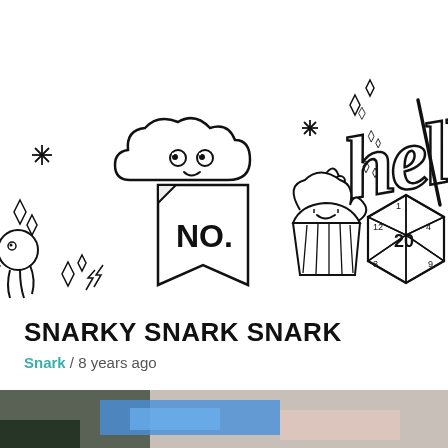[Figure (illustration): Blog header banner with hand-drawn doodles on white background: kawaii cloud character with cute eyes, sparkle/star decorations, cursive 'hello' text, small octopus, bookmark/flag icon with 'NO.' text, cupcake with swirl frosting, a d20 dice, diamond sparkles throughout]
SNARKY SNARK SNARK
Snark / 8 years ago
[Figure (photo): Partial thumbnail image at bottom of page showing a blurred photo, appears to show cards or papers on a light pink surface]